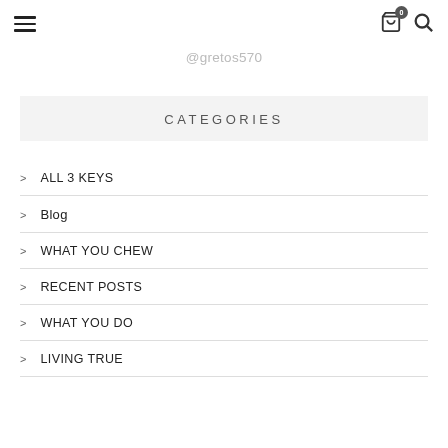Navigation bar with hamburger menu, cart icon with badge 0, and search icon
@gretos570
CATEGORIES
ALL 3 KEYS
Blog
WHAT YOU CHEW
RECENT POSTS
WHAT YOU DO
LIVING TRUE